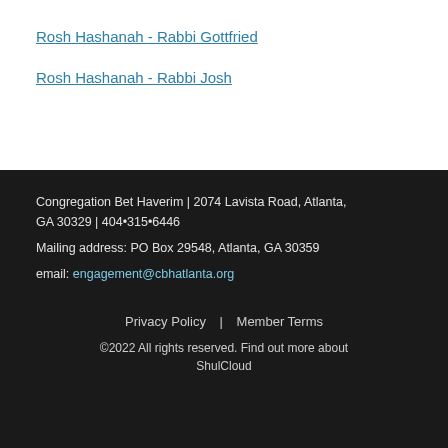Rosh Hashanah - Rabbi Gottfried
Rosh Hashanah - Rabbi Josh
Congregation Bet Haverim | 2074 Lavista Road, Atlanta, GA 30329 | 404•315•6446
Mailing address: PO Box 29548, Atlanta, GA 30359
email: engagement@cbhatlanta.org
Privacy Policy  |  Member Terms
©2022 All rights reserved. Find out more about ShulCloud